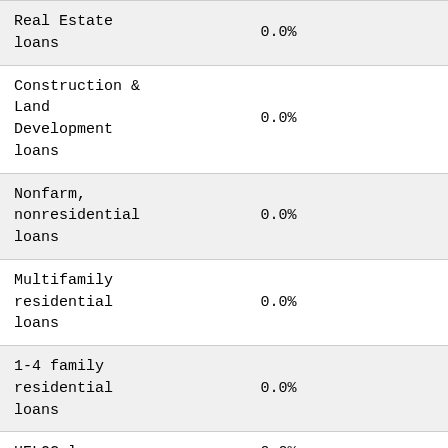| Loan Type | Percentage |
| --- | --- |
| Real Estate loans | 0.0% |
| Construction & Land Development loans | 0.0% |
| Nonfarm, nonresidential loans | 0.0% |
| Multifamily residential loans | 0.0% |
| 1-4 family residential loans | 0.0% |
| HELOC loans | 0.0% |
| All other family | 0.0% |
| Commercial & |  |